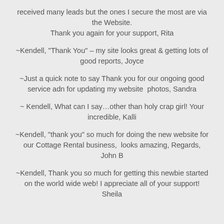received many leads but the ones I secure the most are via the Website. Thank you again for your support, Rita
~Kendell, "Thank You" – my site looks great & getting lots of good reports, Joyce
~Just a quick note to say Thank you for our ongoing good service adn for updating my website  photos, Sandra
~ Kendell, What can I say…other than holy crap girl! Your incredible, Kalli
~Kendell, "thank you" so much for doing the new website for our Cottage Rental business,  looks amazing, Regards, John B
~Kendell, Thank you so much for getting this newbie started on the world wide web! I appreciate all of your support! Sheila